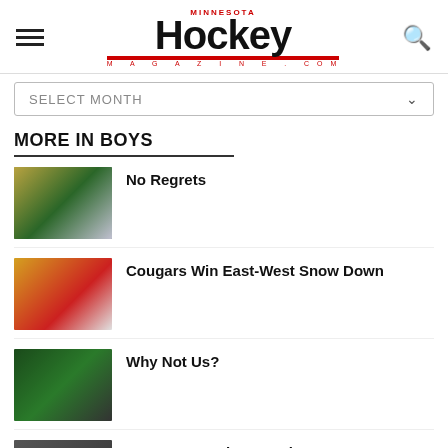Minnesota Hockey Magazine
SELECT MONTH
MORE IN BOYS
No Regrets
Cougars Win East-West Snow Down
Why Not Us?
East Metro Reigns Again